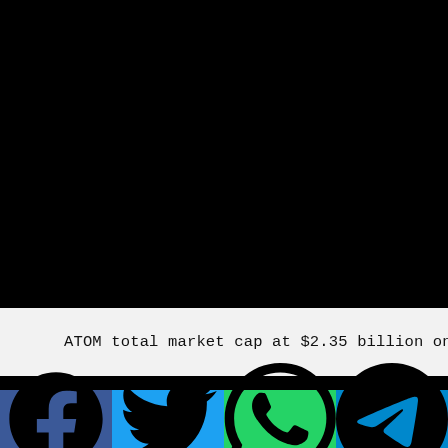[Figure (screenshot): Black background area representing a screenshot or chart image area (upper portion of the page)]
ATOM total market cap at $2.35 billion on the dail
Cosmos, often known as the Internet of Blockchains, specializes in enabling businesses to create their own independent blockchain. Each blockchain will make its own decisions autonomously while being driven by the Tendermint consensus.